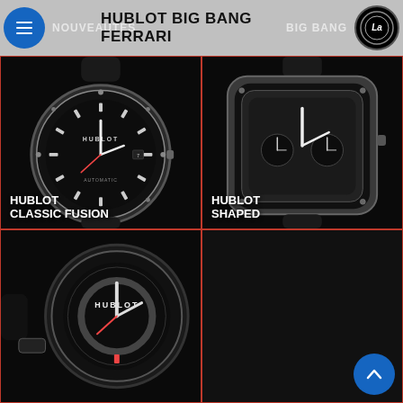NOUVEAUTES | HUBLOT BIG BANG FERRARI | BIG BANG
HUBLOT BIG BANG FERRARI
[Figure (photo): Hublot Classic Fusion watch with round black dial and titanium/steel case on black rubber strap, product photo on black background]
HUBLOT
CLASSIC FUSION
[Figure (photo): Hublot Shaped square skeleton watch with black rubber strap and titanium case, product photo on black background]
HUBLOT
SHAPED
[Figure (photo): Hublot watch partial view from bottom-left, dark carbon/ceramic case with Hublot branding visible, black rubber strap]
[Figure (photo): Dark/empty cell with scroll-to-top button in bottom right corner]